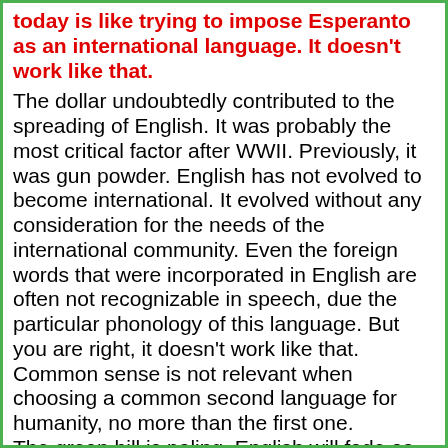today is like trying to impose Esperanto as an international language. It doesn't work like that.
The dollar undoubtedly contributed to the spreading of English. It was probably the most critical factor after WWII. Previously, it was gun powder. English has not evolved to become international. It evolved without any consideration for the needs of the international community. Even the foreign words that were incorporated in English are often not recognizable in speech, due the particular phonology of this language. But you are right, it doesn't work like that. Common sense is not relevant when choosing a common second language for humanity, no more than the first one.
The green bill is paling. English will fade as did French and Latin previously.
(#213) I can not imagine that an artificial language as Esperanto can develop in the way a natural language